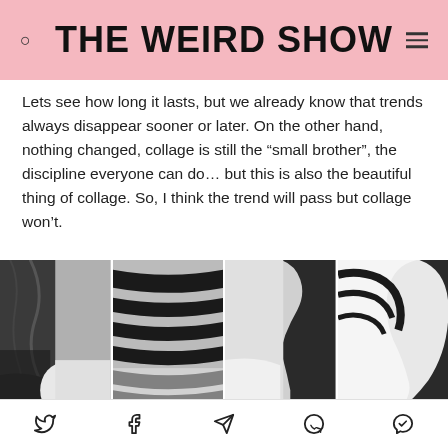THE WEIRD SHOW
Lets see how long it lasts, but we already know that trends always disappear sooner or later. On the other hand, nothing changed, collage is still the “small brother”, the discipline everyone can do… but this is also the beautiful thing of collage. So, I think the trend will pass but collage won’t.
[Figure (photo): Black and white photographic collage strip showing four panels with abstract body/textile imagery in grayscale]
Social share icons: Twitter, Facebook, Telegram, WhatsApp, Messenger